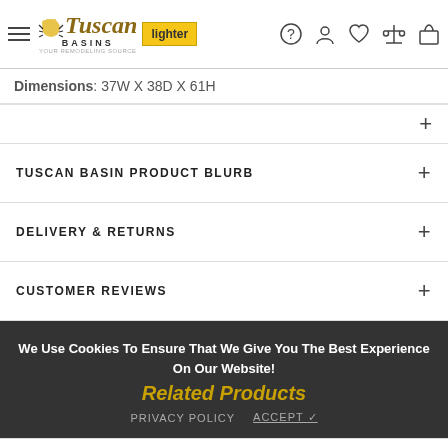Tuscan Basins — Navigation bar with logo, icons
Dimensions: 37W X 38D X 61H
TUSCAN BASIN PRODUCT BLURB
DELIVERY & RETURNS
CUSTOMER REVIEWS
We Use Cookies To Ensure That We Give You The Best Experience On Our Website!
Related Products
PRIVACY POLICY    ACCEPT ✓
$ 8,525.00
SOLD OUT